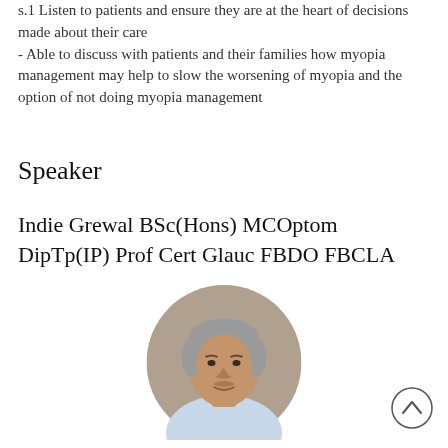s.1 Listen to patients and ensure they are at the heart of decisions made about their care
- Able to discuss with patients and their families how myopia management may help to slow the worsening of myopia and the option of not doing myopia management
Speaker
Indie Grewal BSc(Hons) MCOptom DipTp(IP) Prof Cert Glauc FBDO FBCLA
[Figure (photo): Circular portrait photo of Indie Grewal, a middle-aged man with grey hair wearing a light blue shirt, photographed against a grey background.]